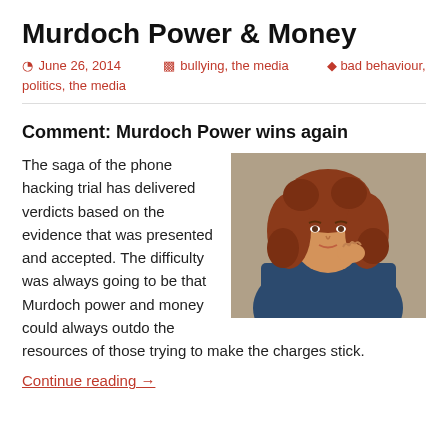Murdoch Power & Money
June 26, 2014   bullying, the media   bad behaviour, politics, the media
Comment: Murdoch Power wins again
[Figure (photo): Woman with curly red hair, wearing a blue jacket, hand raised near her face, photographed outdoors against a stone wall background.]
The saga of the phone hacking trial has delivered verdicts based on the evidence that was presented and accepted. The difficulty was always going to be that Murdoch power and money could always outdo the resources of those trying to make the charges stick.
Continue reading →